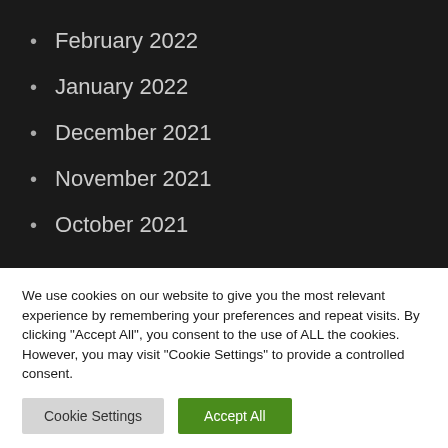February 2022
January 2022
December 2021
November 2021
October 2021
We use cookies on our website to give you the most relevant experience by remembering your preferences and repeat visits. By clicking "Accept All", you consent to the use of ALL the cookies. However, you may visit "Cookie Settings" to provide a controlled consent.